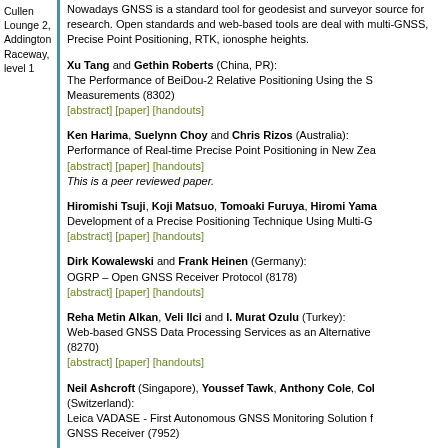Cullen Lounge 2, Addington Raceway, level 1
Nowadays GNSS is a standard tool for geodesist and surveyors source for research. Open standards and web-based tools are deal with multi-GNSS, Precise Point Positioning, RTK, ionosphere heights.
Xu Tang and Gethin Roberts (China, PR): The Performance of BeiDou-2 Relative Positioning Using the S Measurements (8302) [abstract] [paper] [handouts]
Ken Harima, Suelynn Choy and Chris Rizos (Australia): Performance of Real-time Precise Point Positioning in New Zea [abstract] [paper] [handouts] This is a peer reviewed paper.
Hiromishi Tsuji, Koji Matsuo, Tomoaki Furuya, Hiromi Yama: Development of a Precise Positioning Technique Using Multi-G [abstract] [paper] [handouts]
Dirk Kowalewski and Frank Heinen (Germany): OGRP – Open GNSS Receiver Protocol (8178) [abstract] [paper] [handouts]
Reha Metin Alkan, Veli Ilci and I. Murat Ozulu (Turkey): Web-based GNSS Data Processing Services as an Alternative (8270) [abstract] [paper] [handouts]
Neil Ashcroft (Singapore), Youssef Tawk, Anthony Cole, Col (Switzerland): Leica VADASE - First Autonomous GNSS Monitoring Solution f GNSS Receiver (7952)